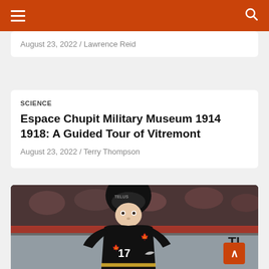Navigation bar with menu and search icons
August 23, 2022 / Lawrence Reid
SCIENCE
Espace Chupit Military Museum 1914 1918: A Guided Tour of Vitremont
August 23, 2022 / Terry Thompson
[Figure (photo): A hockey player wearing a black Team Canada jersey with number 17 and TELUS helmet, leaning forward during play, with crowd in background]